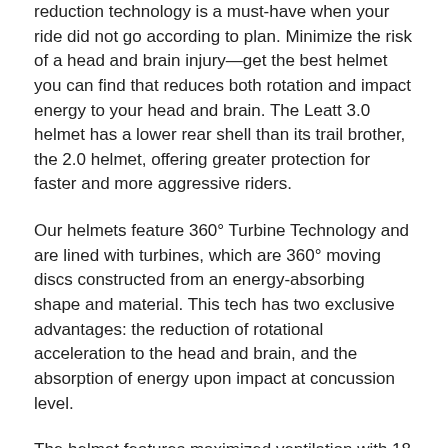reduction technology is a must-have when your ride did not go according to plan. Minimize the risk of a head and brain injury—get the best helmet you can find that reduces both rotation and impact energy to your head and brain. The Leatt 3.0 helmet has a lower rear shell than its trail brother, the 2.0 helmet, offering greater protection for faster and more aggressive riders.
Our helmets feature 360° Turbine Technology and are lined with turbines, which are 360° moving discs constructed from an energy-absorbing shape and material. This tech has two exclusive advantages: the reduction of rotational acceleration to the head and brain, and the absorption of energy upon impact at concussion level.
The helmet features maximized ventilation with 18 vents, which is effective even when you are riding at a slow speed. The MTB 3.0 helmet is also fitted with a Fidlock magnetic buckle.